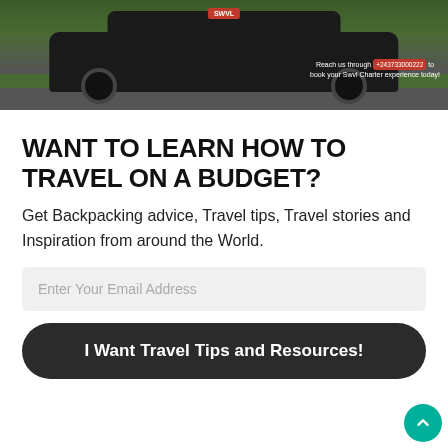[Figure (photo): A black minivan/SUV driving on a road, surrounded by greenery. Overlay text reads: 'Reach us through +243733000222 to book your Swvl Charter experience today!' with a red phone number badge.]
WANT TO LEARN HOW TO TRAVEL ON A BUDGET?
Get Backpacking advice, Travel tips, Travel stories and Inspiration from around the World.
Enter Your Email Address
I Want Travel Tips and Resources!